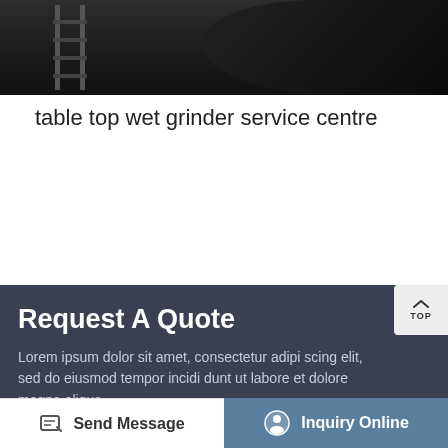[Figure (photo): Dark industrial photo showing machinery with a ladder or scaffolding structure]
table top wet grinder service centre
Request A Quote
Lorem ipsum dolor sit amet, consectetur adipi scing elit, sed do eiusmod tempor incidi dunt ut labore et dolore magna aliqua.
Productname*
Your Na...
Send Message
Inquiry Online